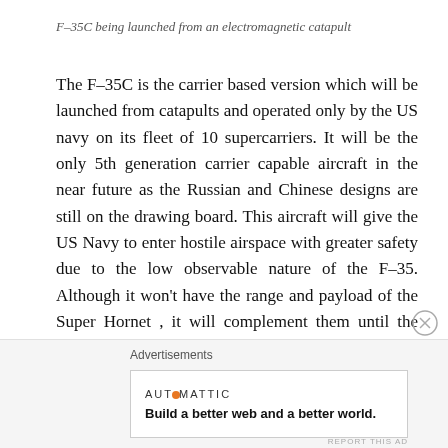F-35C being launched from an electromagnetic catapult
The F-35C is the carrier based version which will be launched from catapults and operated only by the US navy on its fleet of 10 supercarriers. It will be the only 5th generation carrier capable aircraft in the near future as the Russian and Chinese designs are still on the drawing board. This aircraft will give the US Navy to enter hostile airspace with greater safety due to the low observable nature of the F-35. Although it won’t have the range and payload of the Super Hornet , it will complement them until the navy can field a high-performance 5th or 6th gen fighter beyond 2030, for which it has already requested design proposals
Advertisements
[Figure (other): Automattic advertisement: Build a better web and a better world.]